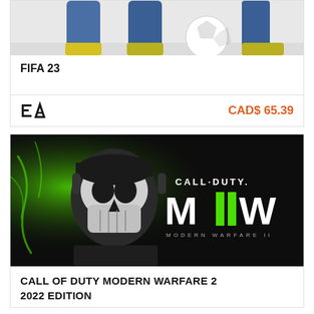[Figure (photo): FIFA 23 game cover showing soccer player legs and ball on white background, cropped at top]
FIFA 23
EA logo | CAD$ 65.39
[Figure (photo): Call of Duty Modern Warfare 2 game cover showing Ghost character with skull mask on green and black background with CALL DUTY MW2 MODERN WARFARE II logo]
CALL OF DUTY MODERN WARFARE 2 2022 EDITION